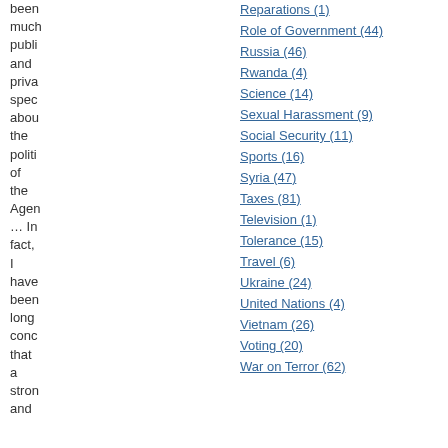been much publi and priva spec abou the politi of the Agen … In fact, I have been long conc that a stron and
Reparations (1)
Role of Government (44)
Russia (46)
Rwanda (4)
Science (14)
Sexual Harassment (9)
Social Security (11)
Sports (16)
Syria (47)
Taxes (81)
Television (1)
Tolerance (15)
Travel (6)
Ukraine (24)
United Nations (4)
Vietnam (26)
Voting (20)
War on Terror (62)